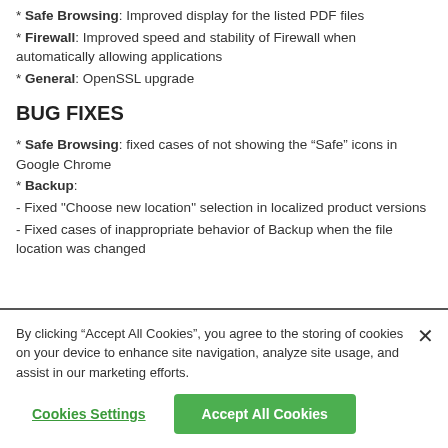* Safe Browsing: Improved display for the listed PDF files
* Firewall: Improved speed and stability of Firewall when automatically allowing applications
* General: OpenSSL upgrade
BUG FIXES
* Safe Browsing: fixed cases of not showing the “Safe” icons in Google Chrome
* Backup:
- Fixed "Choose new location" selection in localized product versions
- Fixed cases of inappropriate behavior of Backup when the file location was changed
By clicking “Accept All Cookies”, you agree to the storing of cookies on your device to enhance site navigation, analyze site usage, and assist in our marketing efforts.
Cookies Settings | Accept All Cookies